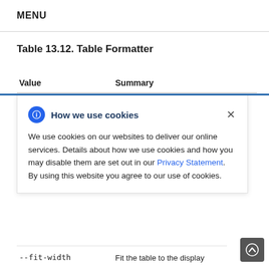MENU
Table 13.12. Table Formatter
| Value | Summary |
| --- | --- |
| --fit-width | Fit the table to the display |
How we use cookies
We use cookies on our websites to deliver our online services. Details about how we use cookies and how you may disable them are set out in our Privacy Statement. By using this website you agree to our use of cookies.